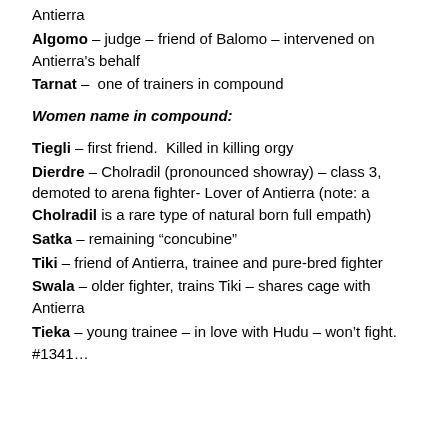Antierra
Algomo – judge – friend of Balomo – intervened on Antierra's behalf
Tarnat –  one of trainers in compound
Women name in compound:
Tiegli – first friend.  Killed in killing orgy
Dierdre – Cholradil (pronounced showray) – class 3, demoted to arena fighter- Lover of Antierra (note: a Cholradil is a rare type of natural born full empath)
Satka – remaining “concubine”
Tiki – friend of Antierra, trainee and pure-bred fighter
Swala – older fighter, trains Tiki – shares cage with Antierra
Tieka – young trainee – in love with Hudu – won’t fight. #1341…